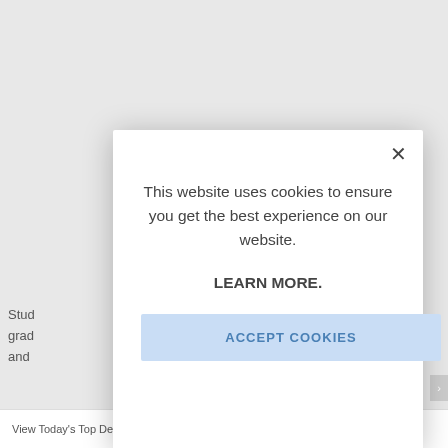[Figure (screenshot): Website screenshot showing a cookie consent modal dialog overlay on a webpage. The modal contains a message about cookie usage, a 'LEARN MORE.' link, and an 'ACCEPT COOKIES' button. Background page shows partial text 'Stud', 'grad', 'and' on the left. A close (X) button appears in the top-right of the modal.]
This website uses cookies to ensure you get the best experience on our website.
LEARN MORE.
ACCEPT COOKIES
Stud grad and